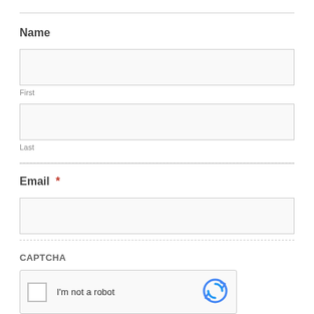Name
First
Last
Email *
CAPTCHA
[Figure (other): reCAPTCHA widget with checkbox labeled 'I'm not a robot' and reCAPTCHA logo on the right]